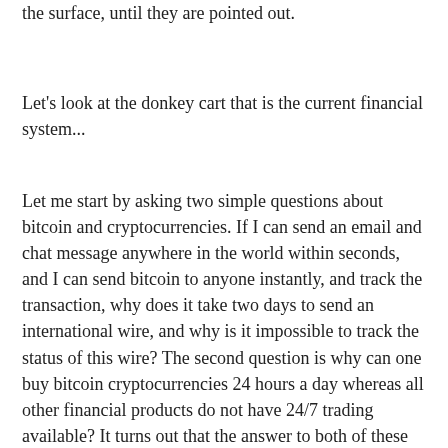the surface, until they are pointed out.
Let's look at the donkey cart that is the current financial system...
Let me start by asking two simple questions about bitcoin and cryptocurrencies. If I can send an email and chat message anywhere in the world within seconds, and I can send bitcoin to anyone instantly, and track the transaction, why does it take two days to send an international wire, and why is it impossible to track the status of this wire? The second question is why can one buy bitcoin cryptocurrencies 24 hours a day whereas all other financial products do not have 24/7 trading available? It turns out that the answer to both of these questions is the result of fundamental